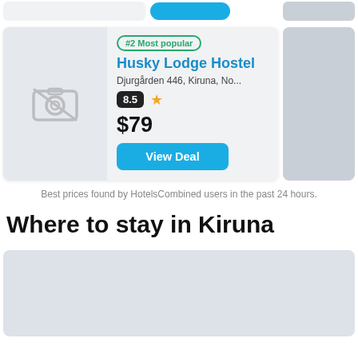[Figure (screenshot): Top strip showing partial hotel cards from previous listing]
[Figure (screenshot): Hotel listing card for Husky Lodge Hostel showing badge '#2 Most popular', name, address 'Djurgården 446, Kiruna, No...', rating 8.5, star, price $79, and View Deal button. Image placeholder with no-photo camera icon on left.]
Best prices found by HotelsCombined users in the past 24 hours.
Where to stay in Kiruna
[Figure (map): Map area placeholder showing Kiruna region (light grey/blue area, partially visible)]